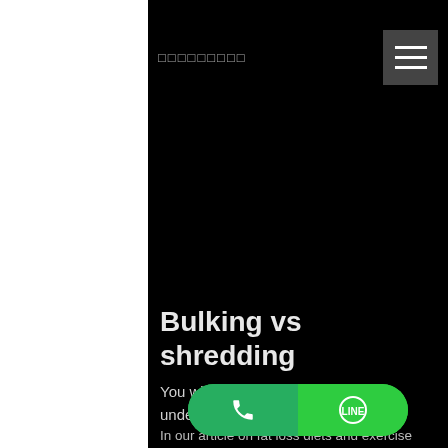□□□□□□□□□
[Figure (screenshot): Black hero image area, blank/dark]
Bulking vs shredding
You will melt up calories, shredding undesirable fat and leaving behind original, ultra lean muscle for a totally toned figure. And for those who want to put on some muscle size ... ne cardio!
[Figure (other): Green pill-shaped CTA bar with phone icon on left and LINE icon on right]
In our article on fat loss diets and exercise